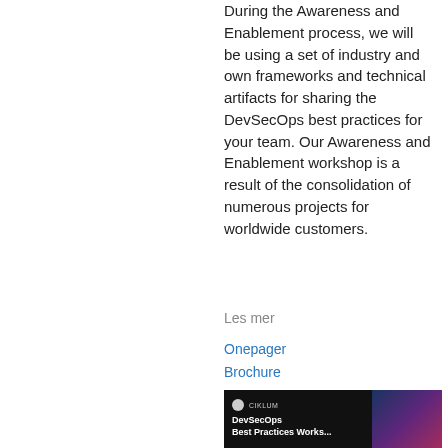During the Awareness and Enablement process, we will be using a set of industry and own frameworks and technical artifacts for sharing the DevSecOps best practices for your team. Our Awareness and Enablement workshop is a result of the consolidation of numerous projects for worldwide customers.
Les mer
Onepager
Brochure
[Figure (screenshot): Dark background screenshot showing a Ciklum branded slide for DevSecOps Best Practices Workshop with a light/color overlay on the right side]